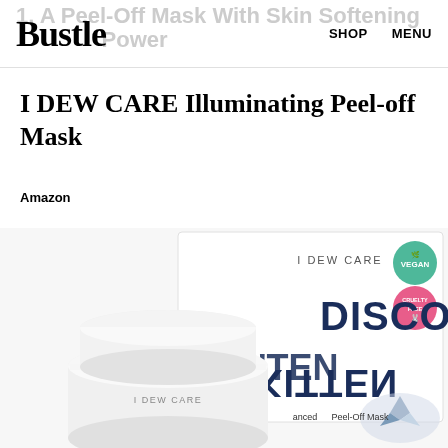Bustle | SHOP  MENU
I DEW CARE Illuminating Peel-off Mask
Amazon
[Figure (photo): Product photo of I DEW CARE Disco Kitten Illuminating Peel-Off Mask showing white cylindrical jar containers and product packaging box with 'I DEW CARE DISCO KITTEN' text, Vegan and Cruelty Free badges, and diamond imagery.]